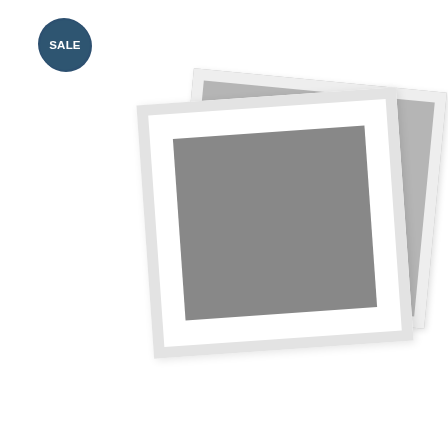[Figure (photo): Product image placeholder showing stacked polaroid-style rectangles with grey background, SALE badge overlay]
Yellow Pain Cotton Patiala Salwar Pants
$18.00 USD  $15.00 USD
ADD TO CART
[Figure (photo): White Plain Cotton Salwar Pant worn by model, partially visible, SALE badge overlay]
White Plain Cotto Salwar Pant
$14.90 USD  $12.90
ADD TO CA